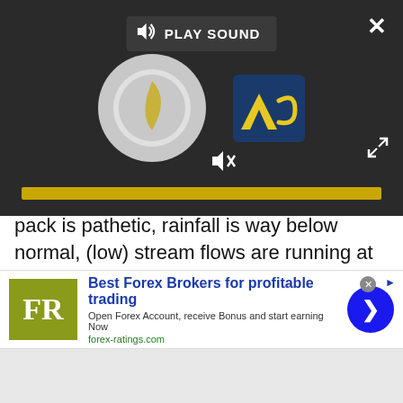[Figure (screenshot): Media player overlay with 'PLAY SOUND' button, circular dial/spinner, LS logo, mute icon, and gold progress bar on dark background]
pack is pathetic, rainfall is way below normal, (low) stream flows are running at 2-3 months ahead of normal depending on the area, well levels have dropped severely and many wells are dry in spring or have levels typical of late fall, surface water irrigation supplies are non-existent to extremely limited in many areas, and the situation is only getting worse daily (especially after 3 consecutive years of drought)."
[Figure (screenshot): Advertisement banner for Best Forex Brokers. Shows 'FR' logo in olive/yellow-green square, bold blue text 'Best Forex Brokers for profitable trading', subtext 'Open Forex Account, receive Bonus and start earning Now', URL 'forex-ratings.com', and a blue circular arrow button.]